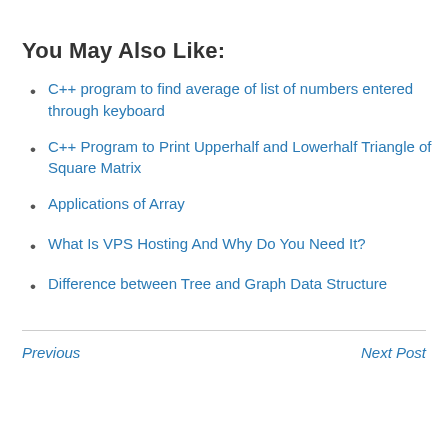You May Also Like:
C++ program to find average of list of numbers entered through keyboard
C++ Program to Print Upperhalf and Lowerhalf Triangle of Square Matrix
Applications of Array
What Is VPS Hosting And Why Do You Need It?
Difference between Tree and Graph Data Structure
Previous    Next Post